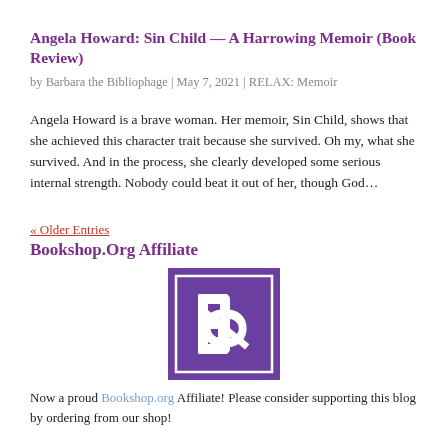Angela Howard: Sin Child — A Harrowing Memoir (Book Review)
by Barbara the Bibliophage | May 7, 2021 | RELAX: Memoir
Angela Howard is a brave woman. Her memoir, Sin Child, shows that she achieved this character trait because she survived. Oh my, what she survived. And in the process, she clearly developed some serious internal strength. Nobody could beat it out of her, though God…
« Older Entries
Bookshop.Org Affiliate
[Figure (logo): Bookshop.org purple square logo with stylized 'B' letter in white]
Now a proud Bookshop.org Affiliate! Please consider supporting this blog by ordering from our shop!
Search All Posts